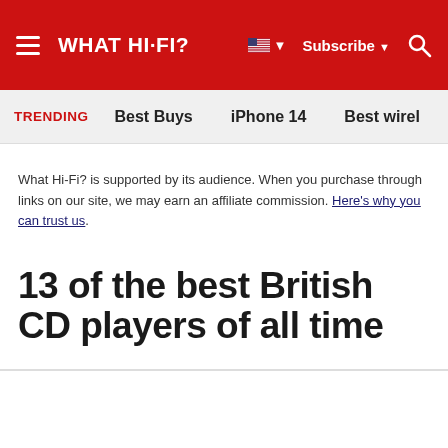WHAT HI-FI?
TRENDING   Best Buys   iPhone 14   Best wirel...
What Hi-Fi? is supported by its audience. When you purchase through links on our site, we may earn an affiliate commission. Here's why you can trust us.
13 of the best British CD players of all time